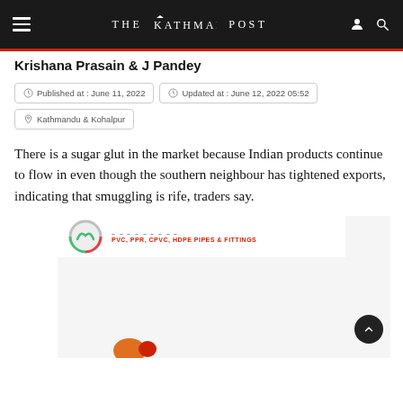THE KATHMANDU POST
Krishana Prasain & J Pandey
Published at : June 11, 2022
Updated at : June 12, 2022 05:52
Kathmandu & Kohalpur
There is a sugar glut in the market because Indian products continue to flow in even though the southern neighbour has tightened exports, indicating that smuggling is rife, traders say.
[Figure (photo): Advertisement banner for PVC, PPR, CPVC, HDPE Pipes & Fittings with logo and partial image at bottom]